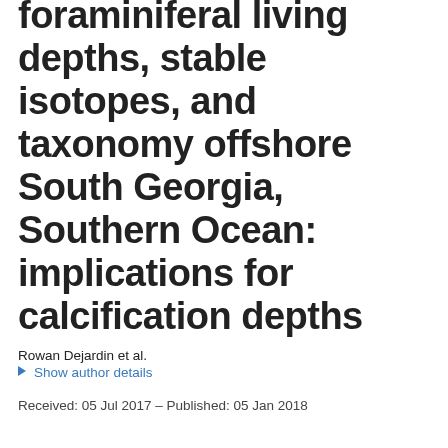foraminiferal living depths, stable isotopes, and taxonomy offshore South Georgia, Southern Ocean: implications for calcification depths
Rowan Dejardin et al.
▶ Show author details
Received: 05 Jul 2017 – Published: 05 Jan 2018